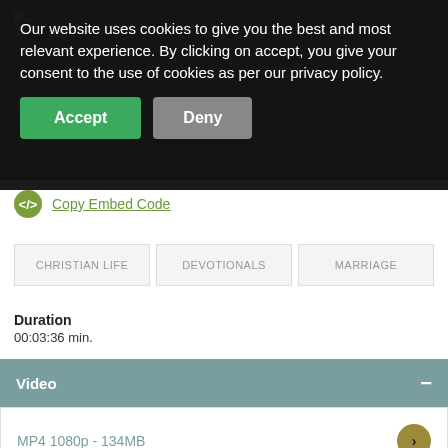Our website uses cookies to give you the best and most relevant experience. By clicking on accept, you give your consent to the use of cookies as per our privacy policy.
Accept
Deny
Copy Embed Code
CHRISTIAN LIFE
DEVOTIONALS
MARRIAGE
Duration
00:03:36 min.
Video
MP4 1080p - 134MB
MP4 720p - 63MB